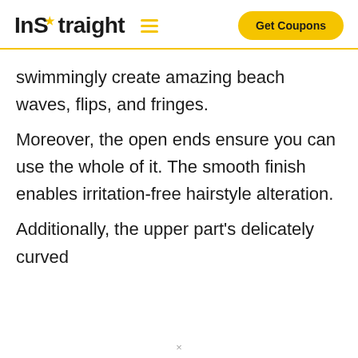InStraight — Get Coupons
swimmingly create amazing beach waves, flips, and fringes.
Moreover, the open ends ensure you can use the whole of it. The smooth finish enables irritation-free hairstyle alteration.
Additionally, the upper part's delicately curved